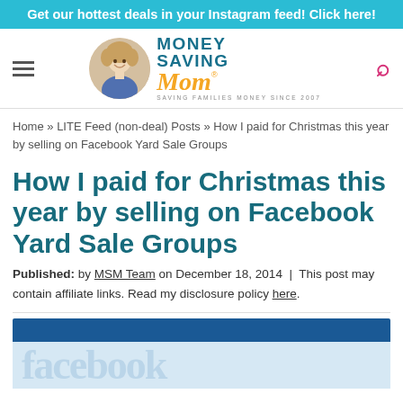Get our hottest deals in your Instagram feed! Click here!
[Figure (logo): Money Saving Mom logo with circular portrait photo, text MONEY SAVING Mom, tagline SAVING FAMILIES MONEY SINCE 2007]
Home » LITE Feed (non-deal) Posts » How I paid for Christmas this year by selling on Facebook Yard Sale Groups
How I paid for Christmas this year by selling on Facebook Yard Sale Groups
Published: by MSM Team on December 18, 2014 | This post may contain affiliate links. Read my disclosure policy here.
[Figure (photo): Facebook logo image with dark blue header bar and light blue background showing partial facebook text]